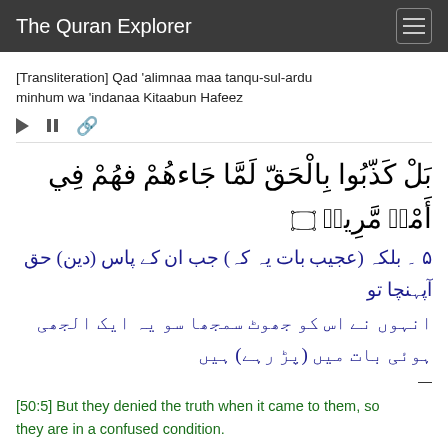The Quran Explorer
[Transliteration] Qad 'alimnaa maa tanqu-sul-ardu minhum wa 'indanaa Kitaabun Hafeez
[Figure (other): Audio playback controls: play button, pause button, link icon]
[Figure (other): Arabic Quran verse 50:5 in large Arabic script with verse number ornament]
۵ ۔ بلکہ (عجیب بات یہ کہ) جب ان کے پاس (دین) حق آپہنچا تو انہوں نے اس کو جھوٹ سمجھا سو یہ ایک الجھی ہوئی بات میں (پڑ رہے) ہیں
[50:5] But they denied the truth when it came to them, so they are in a confused condition.
[Transliteration] Bal kazzaboo bilhaqqi lammaa